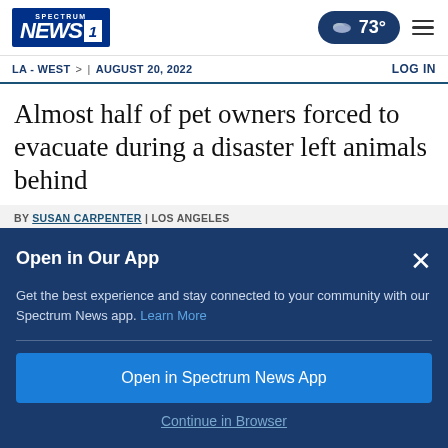Spectrum NEWS 1 | 73° | Menu
LA - WEST > | AUGUST 20, 2022 LOG IN
Almost half of pet owners forced to evacuate during a disaster left animals behind
BY SUSAN CARPENTER | LOS ANGELES
Open in Our App
Get the best experience and stay connected to your community with our Spectrum News app. Learn More
Open in Spectrum News App
Continue in Browser